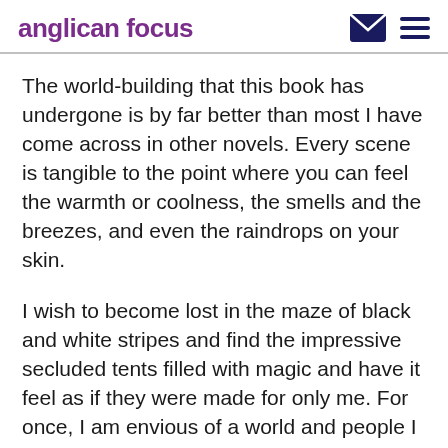anglican focus
The world-building that this book has undergone is by far better than most I have come across in other novels. Every scene is tangible to the point where you can feel the warmth or coolness, the smells and the breezes, and even the raindrops on your skin.
I wish to become lost in the maze of black and white stripes and find the impressive secluded tents filled with magic and have it feel as if they were made for only me. For once, I am envious of a world and people I can never truly meet, even though I feel that I have.
The night circus opens at nightfall and closes at dawn. Do you wish to visit? Be ready, but do not be